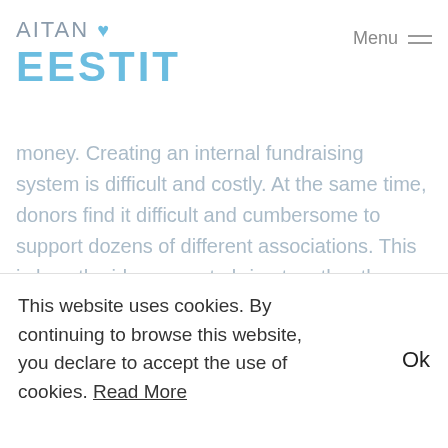AITAN ♥ EESTIT — Menu
money. Creating an internal fundraising system is difficult and costly. At the same time, donors find it difficult and cumbersome to support dozens of different associations. This is how the idea came to bring together those who need donations and donors through active sales. Southwestern Advantage students were ready to contribute. The idea was taken up by Andres Märtin and Janar
This website uses cookies. By continuing to browse this website, you declare to accept the use of cookies. Read More